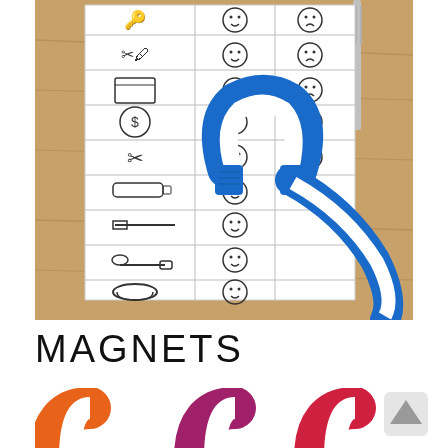[Figure (photo): Photo of a worksheet on a wooden table showing two columns of smiley/sad face icons next to drawn objects (key, scissors, box, coin, scissors, marker, nail, spoon, paperclip), with a blue horseshoe magnet placed on the sheet, a fork and wooden clothespin visible in the upper right corner.]
MAGNETS
[Figure (photo): Photo of three horseshoe-shaped ring magnets in orange, purple/magenta, and red/pink, arranged side by side on a white background.]